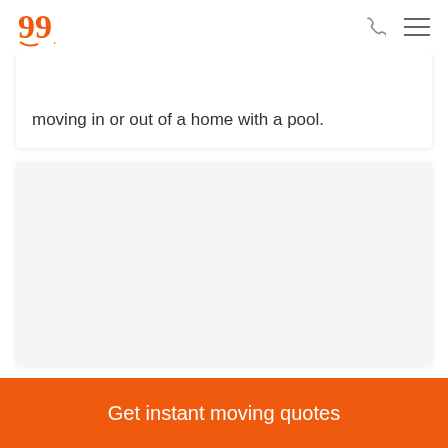moving in or out of a home with a pool.
[Figure (photo): A large image card area, appears blank/white — partial image of a home moving related photo]
How the Removals Industry
Get instant moving quotes